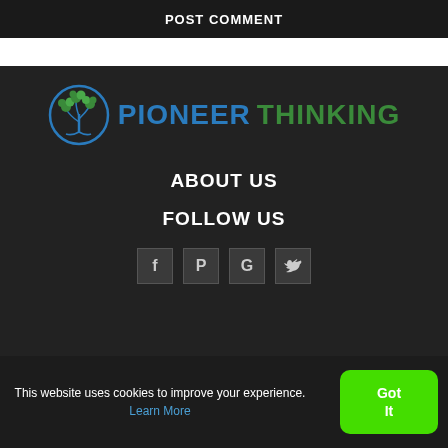POST COMMENT
[Figure (logo): Pioneer Thinking logo — circular blue tree emblem with green leaves, beside the text PIONEER THINKING in blue and green]
ABOUT US
FOLLOW US
[Figure (other): Four social media icon buttons (f, P, G+, Twitter bird) in dark square containers]
This website uses cookies to improve your experience. Learn More
Got It